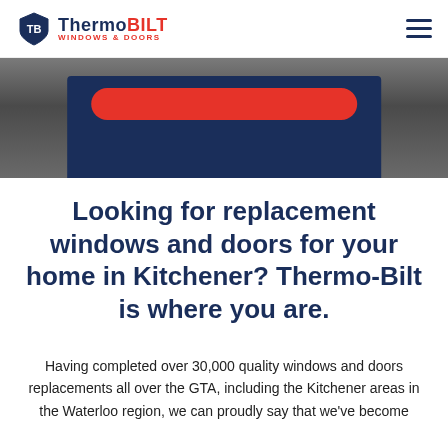Thermoᴮᴵᴸᵀ WINDOWS & DOORS
[Figure (photo): Hero background image showing a dark surface/concrete texture with a dark navy blue box overlay containing a red rounded button]
Looking for replacement windows and doors for your home in Kitchener? Thermo-Bilt is where you are.
Having completed over 30,000 quality windows and doors replacements all over the GTA, including the Kitchener areas in the Waterloo region, we can proudly say that we've become experts in the field.